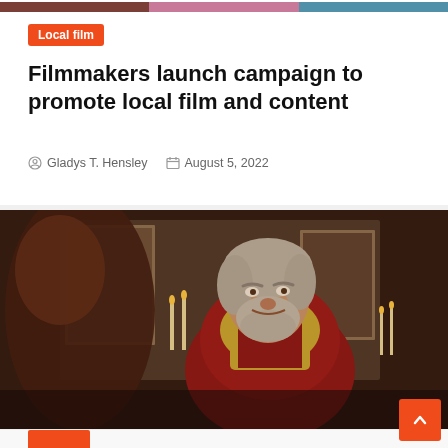[Figure (photo): Partial top image strip showing colorful background from previous article images]
Local film
Filmmakers launch campaign to promote local film and content
Gladys T. Hensley · August 5, 2022
[Figure (photo): Film still showing an older bearded man in a red ornate robe/costume smiling, with another person blurred in the foreground, set in a grand room with paintings and candelabras]
Local film (partially visible orange tag at bottom)